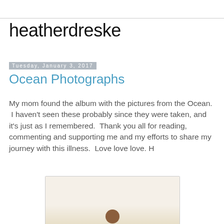heatherdreske
Tuesday, January 3, 2017
Ocean Photographs
My mom found the album with the pictures from the Ocean.  I haven't seen these probably since they were taken, and it's just as I remembered.  Thank you all for reading, commenting and supporting me and my efforts to share my journey with this illness.  Love love love. H
[Figure (photo): A photograph showing a person (head visible at bottom center) against a light beige/cream background, displayed with a light border and rounded corner frame.]